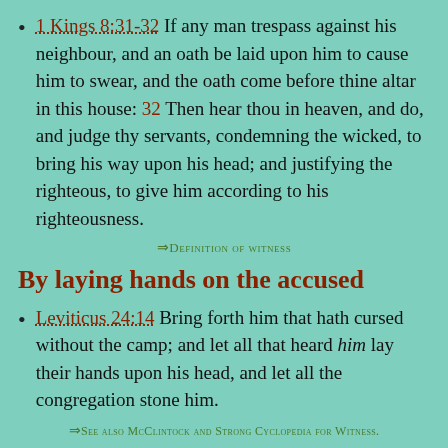1 Kings 8:31-32 If any man trespass against his neighbour, and an oath be laid upon him to cause him to swear, and the oath come before thine altar in this house: 32 Then hear thou in heaven, and do, and judge thy servants, condemning the wicked, to bring his way upon his head; and justifying the righteous, to give him according to his righteousness.
⇒Definition of witness
By laying hands on the accused
Leviticus 24:14 Bring forth him that hath cursed without the camp; and let all that heard him lay their hands upon his head, and let all the congregation stone him.
⇒See also McClintock and Strong Cyclopedia for Witness.